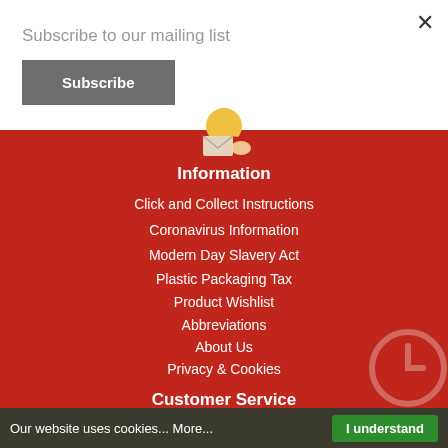Subscribe to our mailing list
×
Subscribe
Information
Click and Collect Instructions
Coronavirus Information
Modern Day Slavery Act
Plastic Packaging Tax
Product Wishlist
Abbreviations
About Us
Privacy & Cookies
Customer Service
Get in Touch
Returns
Our website uses cookies... More... I understand